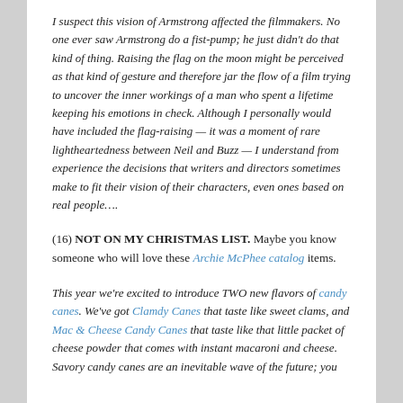I suspect this vision of Armstrong affected the filmmakers. No one ever saw Armstrong do a fist-pump; he just didn't do that kind of thing. Raising the flag on the moon might be perceived as that kind of gesture and therefore jar the flow of a film trying to uncover the inner workings of a man who spent a lifetime keeping his emotions in check. Although I personally would have included the flag-raising — it was a moment of rare lightheartedness between Neil and Buzz — I understand from experience the decisions that writers and directors sometimes make to fit their vision of their characters, even ones based on real people….
(16) NOT ON MY CHRISTMAS LIST. Maybe you know someone who will love these Archie McPhee catalog items.
This year we're excited to introduce TWO new flavors of candy canes. We've got Clamdy Canes that taste like sweet clams, and Mac & Cheese Candy Canes that taste like that little packet of cheese powder that comes with instant macaroni and cheese. Savory candy canes are an inevitable wave of the future; you